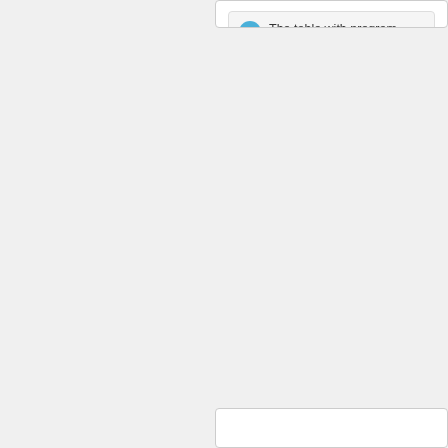The table with program actions contains info further searches for certain file conversions and is far from perfect and may sometimes show conversion that appears as possible, just be
Additional links: Open cmt file, Open jpg file
CMT
Files with cmt file extension might also be described in Chinon ES-1000 digital camera format.
Back to conversion search